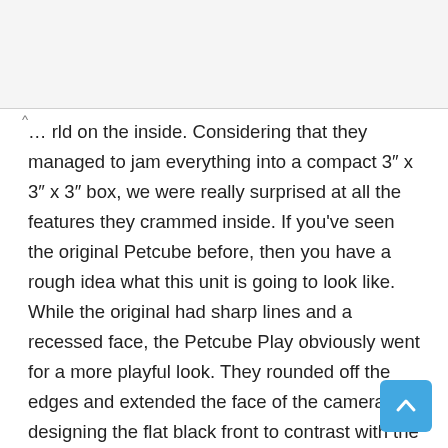...rld on the inside. Considering that they managed to jam everything into a compact 3″ x 3″ x 3″ box, we were really surprised at all the features they crammed inside. If you've seen the original Petcube before, then you have a rough idea what this unit is going to look like. While the original had sharp lines and a recessed face, the Petcube Play obviously went for a more playful look. They rounded off the edges and extended the face of the camera, designing the flat black front to contrast with the bright white case. If you want something a little more sleek and unassuming, you can select a black model.